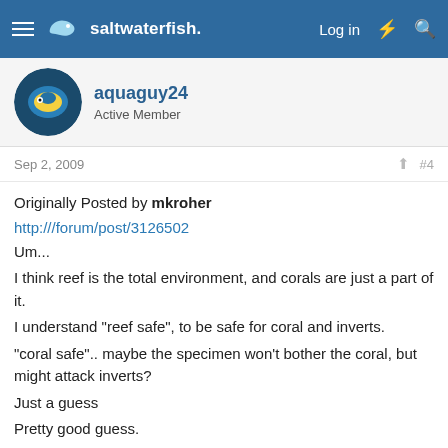saltwaterfish - Log in
aquaguy24 - Active Member
Sep 2, 2009  #4
Originally Posted by mkroher
http:///forum/post/3126502
Um...
I think reef is the total environment, and corals are just a part of it.
I understand "reef safe", to be safe for coral and inverts.
"coral safe".. maybe the specimen won't bother the coral, but might attack inverts?
Just a guess
Pretty good guess.
flower - Well-Known Member